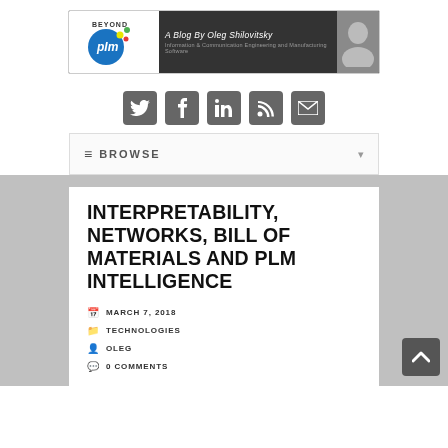[Figure (logo): Beyond PLM blog banner with logo, 'A Blog By Oleg Shilovitsky' text, and author photo]
[Figure (infographic): Social media icons row: Twitter, Facebook, LinkedIn, RSS, Email]
≡  BROWSE
INTERPRETABILITY, NETWORKS, BILL OF MATERIALS AND PLM INTELLIGENCE
MARCH 7, 2018
TECHNOLOGIES
OLEG
0 COMMENTS